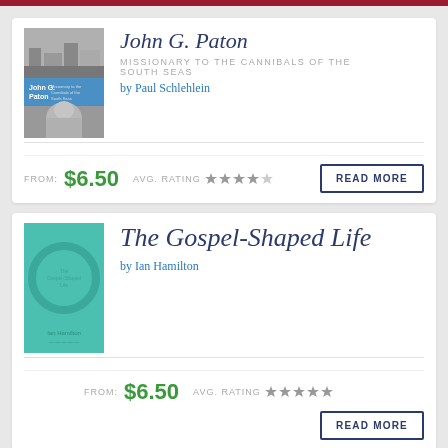[Figure (other): Book listing card for John G. Paton - Missionary to the Cannibals of the South Seas by Paul Schlehlein. Price from $6.50. Average rating 4 stars. Read More button.]
[Figure (other): Book listing card for The Gospel-Shaped Life by Ian Hamilton. Price from $6.50. Average rating 5 stars. Read More button.]
[Figure (other): Book listing card for All Things Made New - John Flavel for the Christian Life by John Flavel. Partial card visible.]